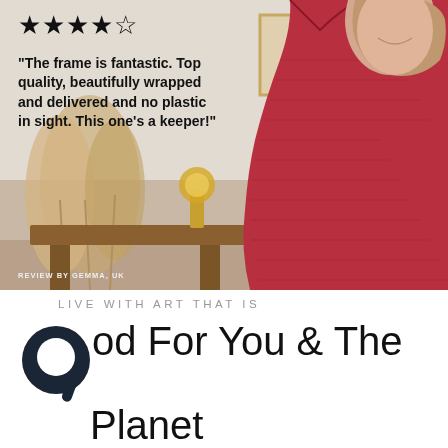[Figure (photo): A woman wearing a red pleated maxi dress leaning on a wooden table with pampas grass and a lamp in the background. Stars (4 out of 5) and a customer review quote overlay the left side of the image. Review attribution reads: REVIEW BY GEMMA, UK.]
"The frame is fantastic. Top quality, beautifully wrapped and delivered and no plastic in sight. This one's a keeper!"
REVIEW BY GEMMA, UK
LIVE WITH ART THAT IS
Good For You & The Planet